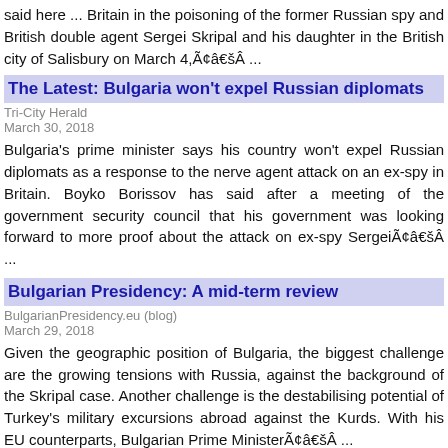said here ... Britain in the poisoning of the former Russian spy and British double agent Sergei Skripal and his daughter in the British city of Salisbury on March 4,Ã¢â€šÂ ...
The Latest: Bulgaria won't expel Russian diplomats
Tri-City Herald
March 30, 2018
Bulgaria's prime minister says his country won't expel Russian diplomats as a response to the nerve agent attack on an ex-spy in Britain. Boyko Borissov has said after a meeting of the government security council that his government was looking forward to more proof about the attack on ex-spy SergeiÃ¢â€šÂ ...
Bulgarian Presidency: A mid-term review
BulgarianPresidency.eu (blog)
March 29, 2018
Given the geographic position of Bulgaria, the biggest challenge are the growing tensions with Russia, against the background of the Skripal case. Another challenge is the destabilising potential of Turkey's military excursions abroad against the Kurds. With his EU counterparts, Bulgarian Prime MinisterÃ¢â€šÂ ...
Bulgarian Parliament sets 50-metre limit on height of new buildings ...
The Sofia Globe
March 29, 2018